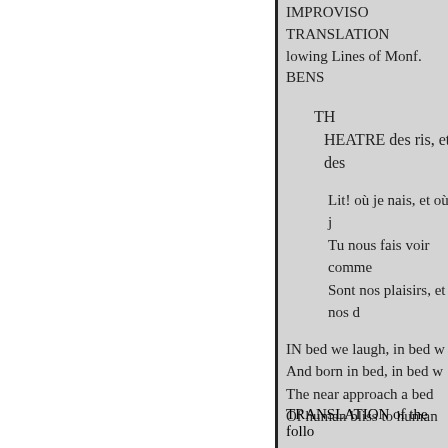IMPROVISO TRANSLATION
lowing Lines of Monf. BENS
TH
HEATRE des ris, et des
Lit! où je nais, et où j
Tu nous fais voir comme
Sont nos plaisirs, et nos d
IN bed we laugh, in bed w
And born in bed, in bed w
The near approach a bed
Of human bliss to human
EPITAPH for Mr. HOGART
The hand of him here tor
That drew th' essential form in the face.
TRANSLATION of the follo